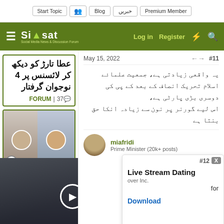Start Topic | Blog | خبریں | Premium Member
Siasat.pk — Log in | Register
عطا تارڑ کو دیکھ کر لائسنس پر 4 نوجوان گرفتار
37 | FORUM
[Figure (photo): Two men photo in sidebar card]
May 15, 2022   #11
یہ واقعی زیادتی ہے، جمعیت علمائے اسلام تحریک انصاف کے بعد کے پی کی دوسری بڑی پارٹی ہے، اس لیے گورنر پر نون سے زیادہ انکا حق بنتا ہے
miafridi
Prime Minister (20k+ posts)
#12
Live Stream Dating
over Inc.
for
Download